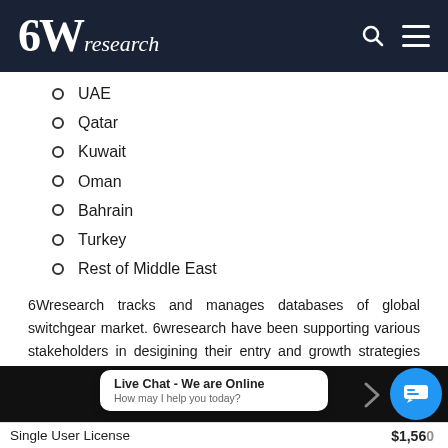6Wresearch
UAE
Qatar
Kuwait
Oman
Bahrain
Turkey
Rest of Middle East
6Wresearch tracks and manages databases of global switchgear market. 6wresearch have been supporting various stakeholders in desigining their entry and growth strategies with the help of robust research and forecasting tools. We have been identifying and tracking various KPIs across major geographies enabling growth projections. With in-house research and data analytics capabilties, 6wresearch delivers actionable insights for companies to make Go/No-Go decisions.
Single User License    $1,560